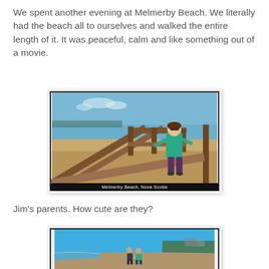We spent another evening at Melmerby Beach. We literally had the beach all to ourselves and walked the entire length of it. It was peaceful, calm and like something out of a movie.
[Figure (photo): Woman in teal jacket standing at a wooden boardwalk/railing at Melmerby Beach, Nova Scotia. Sandy beach and ocean visible in background. Caption reads: Melmerby Beach, Nova Scotia]
Jim's parents. How cute are they?
[Figure (photo): Two people walking hand-in-hand along a sandy beach shore with blue sky, ocean waves on left and trees/buildings in distance on right.]